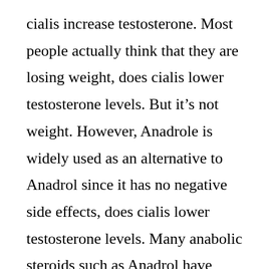cialis increase testosterone. Most people actually think that they are losing weight, does cialis lower testosterone levels. But it’s not weight. However, Anadrole is widely used as an alternative to Anadrol since it has no negative side effects, does cialis lower testosterone levels. Many anabolic steroids such as Anadrol have adverse effects on the body and ultimately damage the user’s health. But some of the side effects might have been noticeable, too: Increased aggression Mood